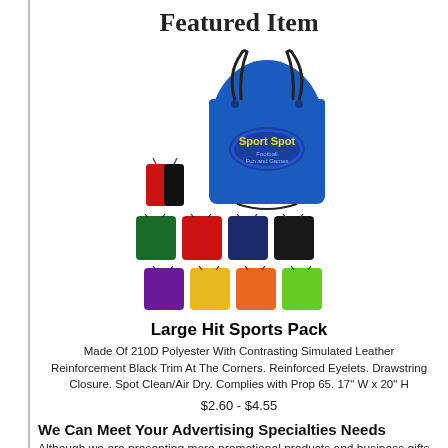Featured Item
[Figure (photo): Product photos of Large Hit Sports Pack drawstring bag in blue with Sport Spot logo, plus small red/black thumbnail and color swatches in green, red, navy, black, purple, yellow, orange, lime green]
Large Hit Sports Pack
Made Of 210D Polyester With Contrasting Simulated Leather Reinforcement Black Trim At The Corners. Reinforced Eyelets. Drawstring Closure. Spot Clean/Air Dry. Complies with Prop 65. 17" W x 20" H
$2.60 - $4.55
We Can Meet Your Advertising Specialties Needs
Although we are presenting more promotional products and business gifts than ever before, we may not have included the item you need and would welcome your inquiries for